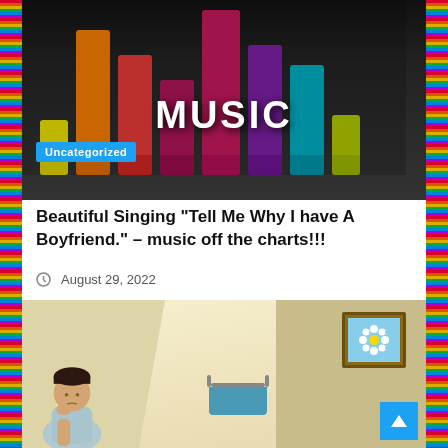[Figure (illustration): Music-themed banner image with colorful equalizer bars (yellow, orange, red, pink, magenta, teal, lime, purple) on dark background with large white MUSIC text and Uncategorized blue badge]
Beautiful Singing “Tell Me Why I have A Boyfriend.” – music off the charts!!!
August 29, 2022
[Figure (illustration): Cartoon illustration of a person sitting pensively in a bathroom scene with tan walls, towel rack with teal towel, and framed flower picture on the wall]